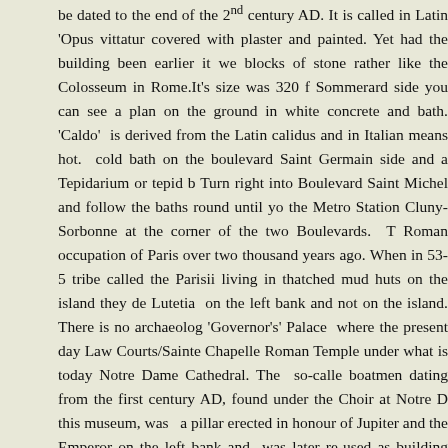be dated to the end of the 2nd century AD. It is called in Latin 'Opus vittatur covered with plaster and painted. Yet had the building been earlier it we blocks of stone rather like the Colosseum in Rome.It's size was 320 f Sommerard side you can see a plan on the ground in white concrete and bath. 'Caldo' is derived from the Latin calidus and in Italian means hot. cold bath on the boulevard Saint Germain side and a Tepidarium or tepid b Turn right into Boulevard Saint Michel and follow the baths round until yo the Metro Station Cluny-Sorbonne at the corner of the two Boulevards. T Roman occupation of Paris over two thousand years ago. When in 53-5 tribe called the Parisii living in thatched mud huts on the island they de Lutetia on the left bank and not on the island. There is no archaeolog 'Governor's' Palace where the present day Law Courts/Sainte Chapelle Roman Temple under what is today Notre Dame Cathedral. The so-calle boatmen dating from the first century AD, found under the Choir at Notre D this museum, was a pillar erected in honour of Jupiter and the Emperor on the left bank and was later re-used as building blocks for the wall arou by barbarian invasions in the IV century AD.
On the other side of the Museum is the rue Saint Jacques. This was th road on the left bank going up the hill of Sainte Genevieve. On the top d about 600 feet long by 200 feet wide, today the site of the Pantheon. Th